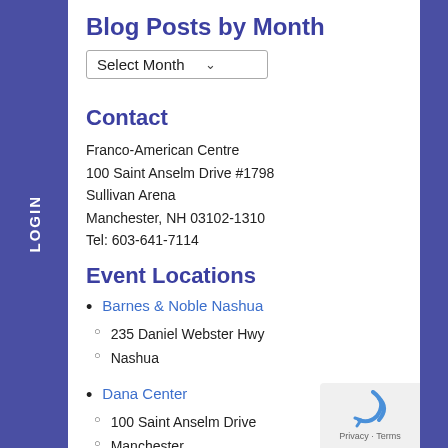Blog Posts by Month
Select Month
Contact
Franco-American Centre
100 Saint Anselm Drive #1798
Sullivan Arena
Manchester, NH 03102-1310
Tel: 603-641-7114
Event Locations
Barnes & Noble Nashua
235 Daniel Webster Hwy
Nashua
Dana Center
100 Saint Anselm Drive
Manchester